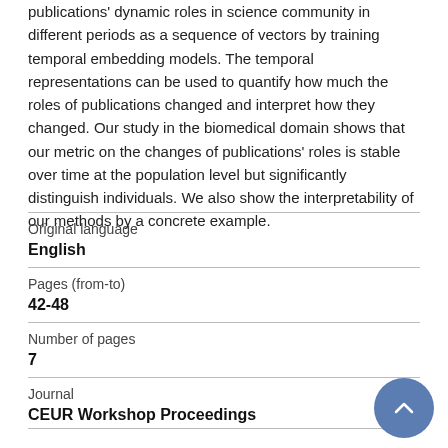publications' dynamic roles in science community in different periods as a sequence of vectors by training temporal embedding models. The temporal representations can be used to quantify how much the roles of publications changed and interpret how they changed. Our study in the biomedical domain shows that our metric on the changes of publications' roles is stable over time at the population level but significantly distinguish individuals. We also show the interpretability of our methods by a concrete example.
| Original language | English |
| Pages (from-to) | 42-48 |
| Number of pages | 7 |
| Journal | CEUR Workshop Proceedings |